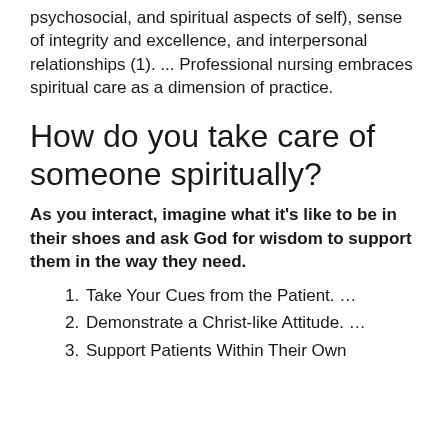psychosocial, and spiritual aspects of self), sense of integrity and excellence, and interpersonal relationships (1). ... Professional nursing embraces spiritual care as a dimension of practice.
How do you take care of someone spiritually?
As you interact, imagine what it's like to be in their shoes and ask God for wisdom to support them in the way they need.
Take Your Cues from the Patient. ...
Demonstrate a Christ-like Attitude. ...
Support Patients Within Their Own